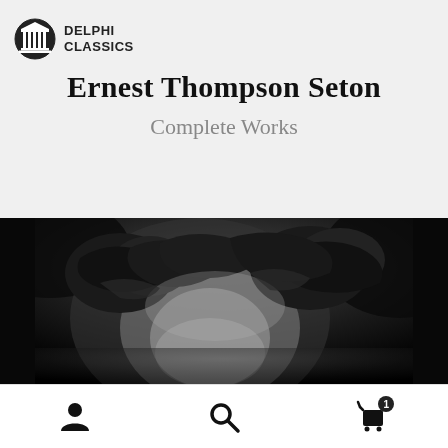[Figure (logo): Delphi Classics logo: black circle with white Greek column/temple icon]
DELPHI
CLASSICS
Ernest Thompson Seton
Complete Works
[Figure (photo): Black and white portrait photograph of Ernest Thompson Seton, showing his face and curly hair, cropped at the top of the image]
[Figure (infographic): Bottom navigation bar with three icons: person/user icon, search/magnifying glass icon, and shopping cart icon with badge showing number 1]